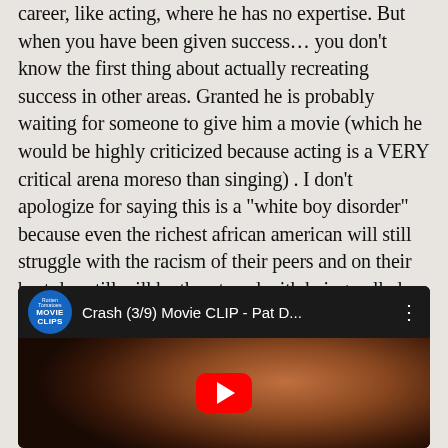career, like acting, where he has no expertise. But when you have been given success... you don't know the first thing about actually recreating success in other areas. Granted he is probably waiting for someone to give him a movie (which he would be highly criticized because acting is a VERY critical arena moreso than singing) . I don't apologize for saying this is a "white boy disorder" because even the richest african american will still struggle with the racism of their peers and on their best day still will be threatened with being pulled over by a cop for nothing.
[Figure (screenshot): YouTube video thumbnail showing a movie clip titled 'Crash (3/9) Movie CLIP - Pat D...' from the Rotten Tomatoes Movie Clips channel. The thumbnail shows a close-up of a woman's face in a dark scene. A red YouTube play button is visible in the center.]